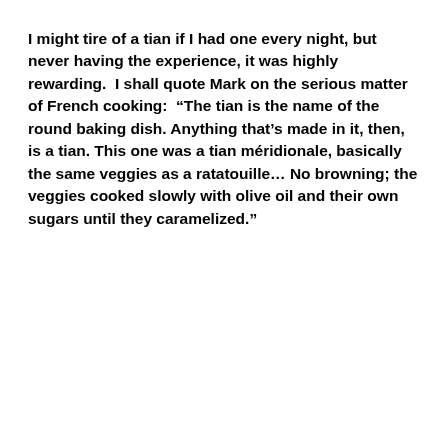I might tire of a tian if I had one every night, but never having the experience, it was highly rewarding.  I shall quote Mark on the serious matter of French cooking:  “The tian is the name of the round baking dish. Anything that’s made in it, then, is a tian. This one was a tian méridionale, basically the same veggies as a ratatouille… No browning; the veggies cooked slowly with olive oil and their own sugars until they caramelized.”